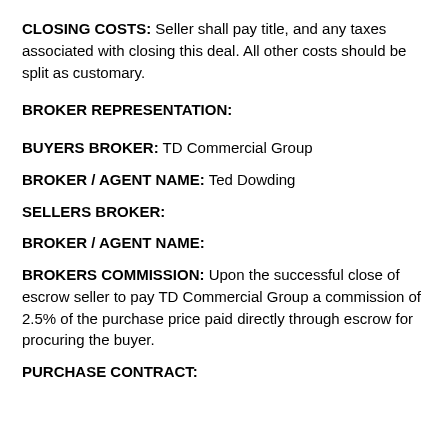CLOSING COSTS: Seller shall pay title, and any taxes associated with closing this deal. All other costs should be split as customary.
BROKER REPRESENTATION:
BUYERS BROKER: TD Commercial Group
BROKER / AGENT NAME: Ted Dowding
SELLERS BROKER:
BROKER / AGENT NAME:
BROKERS COMMISSION: Upon the successful close of escrow seller to pay TD Commercial Group a commission of 2.5% of the purchase price paid directly through escrow for procuring the buyer.
PURCHASE CONTRACT: